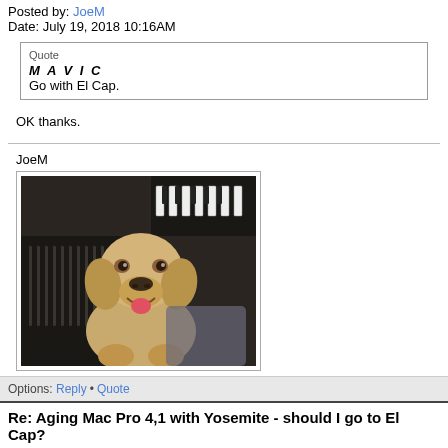Posted by: JoeM
Date: July 19, 2018 10:16AM
Quote
MAVIC
Go with El Cap.
OK thanks.
[Figure (photo): Yellow Labrador dog sitting in front of audio mixing equipment in a studio setting]
Options: Reply • Quote
Re: Aging Mac Pro 4,1 with Yosemite - should I go to El Cap?
Posted by: tlh828
Date: July 19, 2018 10:35AM